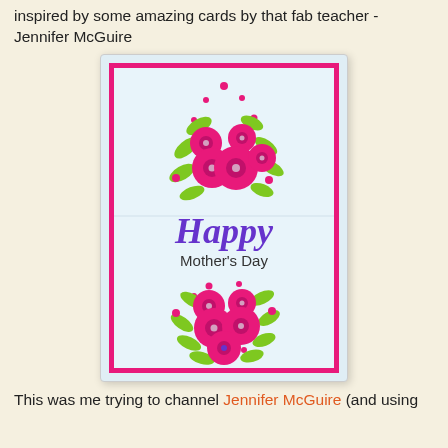inspired by some amazing cards by that fab teacher - Jennifer McGuire
[Figure (photo): A handmade Mother's Day card with pink/magenta flowers and green leaves arranged in two clusters above and below the text 'Happy Mother's Day' written in purple script on a light blue background with a hot pink border.]
This was me trying to channel Jennifer McGuire (and using